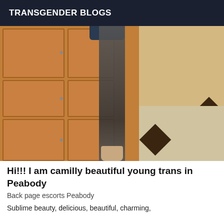TRANSGENDER BLOGS
[Figure (photo): A person's leg in dark stockings and a high heel shoe, standing in a room with warm wooden cabinet panels on the left and marble flooring on the right.]
Hi!!! I am camilly beautiful young trans in Peabody
Back page escorts Peabody
Sublime beauty, delicious, beautiful, charming,